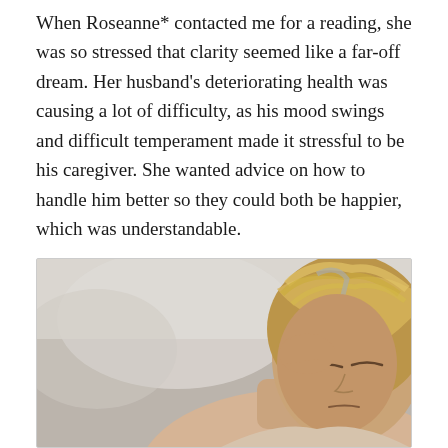When Roseanne* contacted me for a reading, she was so stressed that clarity seemed like a far-off dream. Her husband's deteriorating health was causing a lot of difficulty, as his mood swings and difficult temperament made it stressful to be his caregiver. She wanted advice on how to handle him better so they could both be happier, which was understandable.
[Figure (photo): A middle-aged blonde woman with highlighted hair holding her hand to her temple with eyes closed, appearing stressed or in pain, photographed against a blurred light background.]